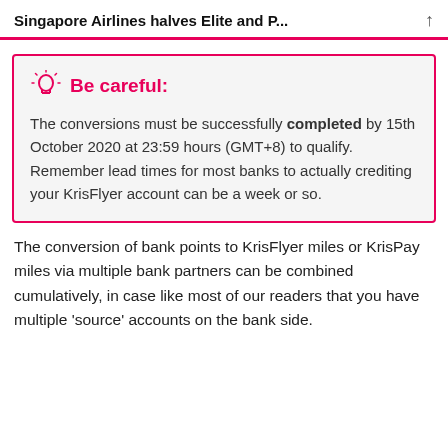Singapore Airlines halves Elite and P...
Be careful: The conversions must be successfully completed by 15th October 2020 at 23:59 hours (GMT+8) to qualify. Remember lead times for most banks to actually crediting your KrisFlyer account can be a week or so.
The conversion of bank points to KrisFlyer miles or KrisPay miles via multiple bank partners can be combined cumulatively, in case like most of our readers that you have multiple ‘source’ accounts on the bank side.